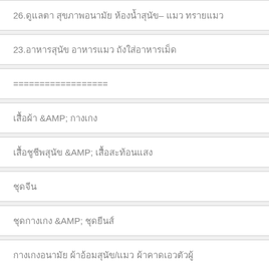26.ดูแลตา สุขภาพอนามัย ห้องน้ำสุนัข– แมว ทรายแมว
23.อาหารสุนัข อาหารแมว ถังใส่อาหารเม็ด
==================
เสื้อผ้า &AMP; กางเกง
เสื้อชูชีพสุนัข &AMP; เสื้อสะท้อนแสง
ชุดจีน
ชุดกางเกง &AMP; ชุดยีนส์
กางเกงอนามัย ผ้าอ้อมสุนัข/แมว ผ้าคาดเอวตัวผู้
ชุดกระโปรง